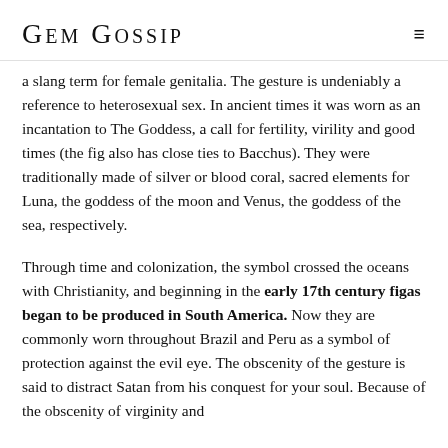GEM GOSSIP
a slang term for female genitalia. The gesture is undeniably a reference to heterosexual sex. In ancient times it was worn as an incantation to The Goddess, a call for fertility, virility and good times (the fig also has close ties to Bacchus). They were traditionally made of silver or blood coral, sacred elements for Luna, the goddess of the moon and Venus, the goddess of the sea, respectively.
Through time and colonization, the symbol crossed the oceans with Christianity, and beginning in the early 17th century figas began to be produced in South America. Now they are commonly worn throughout Brazil and Peru as a symbol of protection against the evil eye. The obscenity of the gesture is said to distract Satan from his conquest for your soul. Because of the obscenity of virginity and